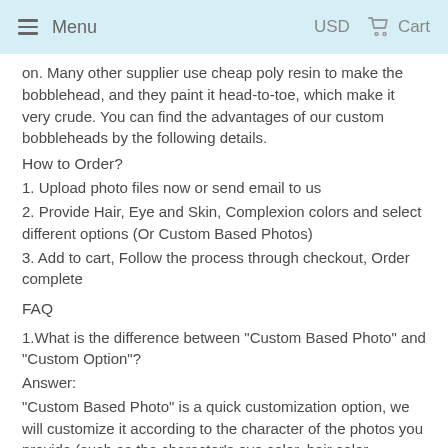Menu  USD  Cart
on. Many other supplier use cheap poly resin to make the bobblehead, and they paint it head-to-toe, which make it very crude. You can find the advantages of our custom bobbleheads by the following details.
How to Order?
1. Upload photo files now or send email to us
2. Provide Hair, Eye and Skin, Complexion colors and select different options (Or Custom Based Photos)
3. Add to cart, Follow the process through checkout, Order complete
FAQ
1.What is the difference between "Custom Based Photo" and "Custom Option"?
Answer:
"Custom Based Photo" is a quick customization option, we will customize it according to the character of the photos you provide (such as the character's eye color, hair color,